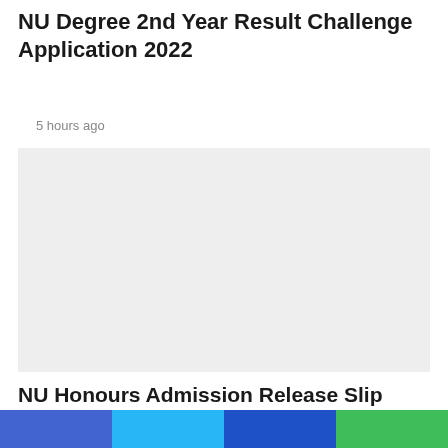NU Degree 2nd Year Result Challenge Application 2022
5 hours ago
[Figure (other): Light grey placeholder image block for article content]
NU Honours Admission Release Slip Result 2022 |
Social share buttons: Facebook, Twitter, LinkedIn, WhatsApp